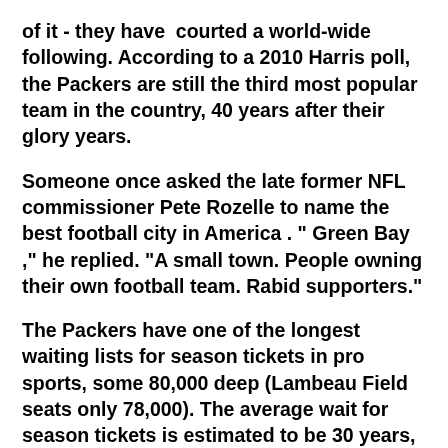of it - they have courted a world-wide following. According to a 2010 Harris poll, the Packers are still the third most popular team in the country, 40 years after their glory years.
Someone once asked the late former NFL commissioner Pete Rozelle to name the best football city in America . " Green Bay ," he replied. "A small town. People owning their own football team. Rabid supporters."
The Packers have one of the longest waiting lists for season tickets in pro sports, some 80,000 deep (Lambeau Field seats only 78,000). The average wait for season tickets is estimated to be 30 years, but if you added your name to the list now you probably wouldn't get tickets in your lifetime. Packer fans are known to leave season tickets in their wills or to place newborn babies on the waiting list. Packer games have been sold out since 1960.